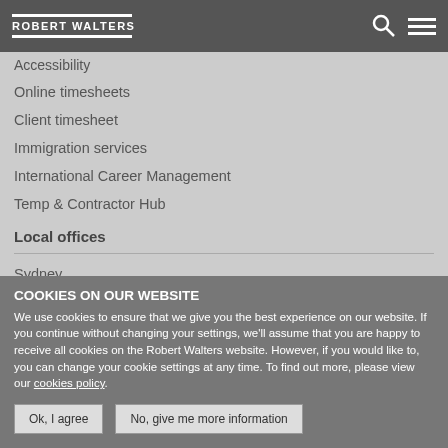Robert Walters
Accessibility
Online timesheets
Client timesheet
Immigration services
International Career Management
Temp & Contractor Hub
Local offices
Sydney
Adelaide
Brisbane
COOKIES ON OUR WEBSITE
We use cookies to ensure that we give you the best experience on our website. If you continue without changing your settings, we'll assume that you are happy to receive all cookies on the Robert Walters website. However, if you would like to, you can change your cookie settings at any time. To find out more, please view our cookies policy.
Ok, I agree | No, give me more information